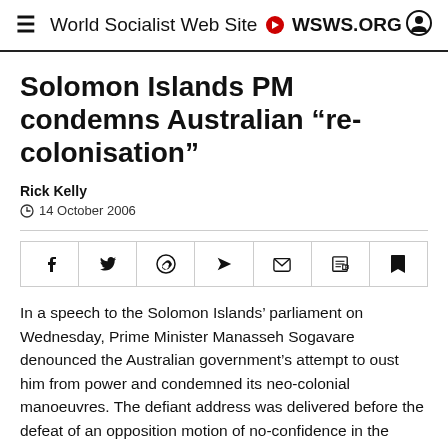World Socialist Web Site WSWS.ORG
Solomon Islands PM condemns Australian “re-colonisation”
Rick Kelly
14 October 2006
[Figure (other): Social share bar with icons for Facebook, Twitter, WhatsApp, Telegram, Email, PDF, and Bookmark]
In a speech to the Solomon Islands’ parliament on Wednesday, Prime Minister Manasseh Sogavare denounced the Australian government’s attempt to oust him from power and condemned its neo-colonial manoeuvres. The defiant address was delivered before the defeat of an opposition motion of no-confidence in the government by 28 votes to 17. The Howard government